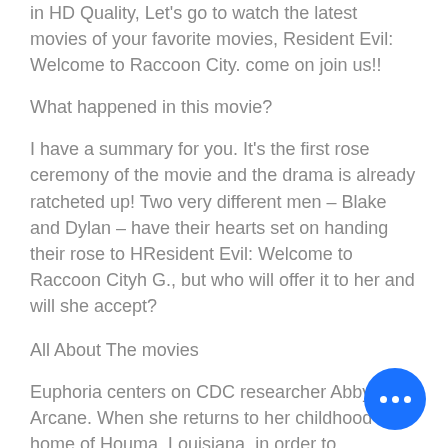in HD  Quality, Let's go to watch the latest movies of your favorite movies,  Resident Evil: Welcome to Raccoon City. come on join us!!
What happened in this movie?
I  have a summary for you. It's the first rose ceremony of the movie and  the drama is already ratcheted up! Two very different men – Blake and Dylan – have their hearts set on handing their rose to HResident Evil:  Welcome to Raccoon Cityh G., but who will offer it to her and will she accept?
All About The movies
Euphoria centers on CDC  researcher Abby Arcane. When she returns to her childhood home of Houma,  Louisiana, in order to investigate a deadly swamp-borne virus, she  develops a surprising bond with scientist Alec Holland, only to have  him tragically taken from her. But  powerful forces descend on Houma,  intent on